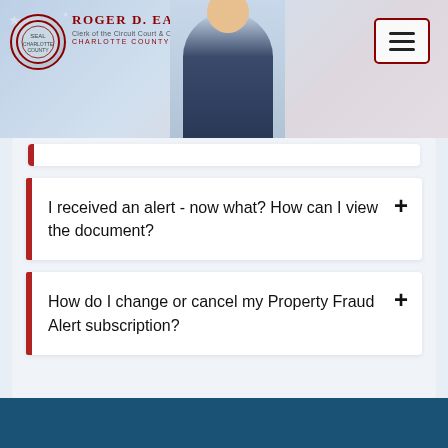[Figure (other): Header with Roger D. Eaton, Clerk of the Circuit Court & County Comptroller, Charlotte County logo, seal, photo of official, and navigation menu button]
I received an alert - now what? How can I view the document?
How do I change or cancel my Property Fraud Alert subscription?